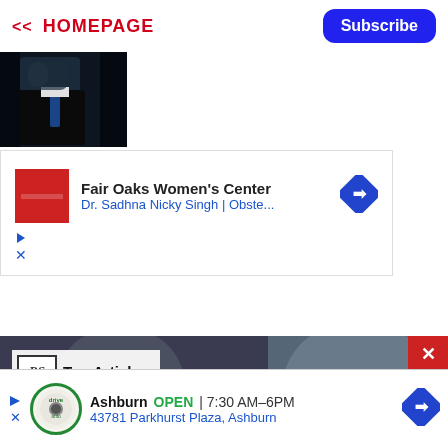<< HOMEPAGE | Subscribe
[Figure (photo): Partial photo of a man in a dark suit and blue tie, mostly dark/shadowed]
[Figure (screenshot): Advertisement for Fair Oaks Women's Center - Dr. Sadhna Nicky Singh | Obste... with red square icon and blue navigation arrow diamond]
[Figure (screenshot): Video thumbnail with two faces - Top Articles badge with RS logo overlaid, and red X close button]
[Figure (screenshot): Advertisement for Ashburn auto service - OPEN 7:30AM-6PM, 43781 Parkhurst Plaza, Ashburn]